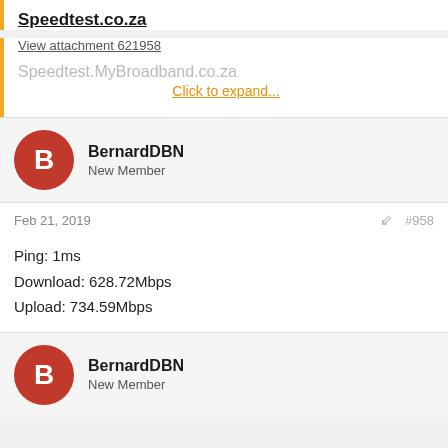Speedtest.co.za
View attachment 621958
Speedtest.MyBroadband.co.za
Click to expand...
BernardDBN
New Member
Feb 21, 2019 #958
Ping: 1ms
Download: 628.72Mbps
Upload: 734.59Mbps
BernardDBN
New Member